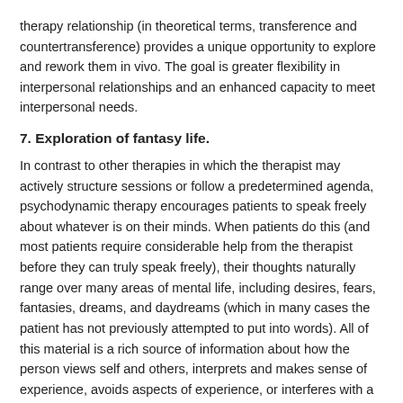therapy relationship (in theoretical terms, transference and countertransference) provides a unique opportunity to explore and rework them in vivo. The goal is greater flexibility in interpersonal relationships and an enhanced capacity to meet interpersonal needs.
7. Exploration of fantasy life.
In contrast to other therapies in which the therapist may actively structure sessions or follow a predetermined agenda, psychodynamic therapy encourages patients to speak freely about whatever is on their minds. When patients do this (and most patients require considerable help from the therapist before they can truly speak freely), their thoughts naturally range over many areas of mental life, including desires, fears, fantasies, dreams, and daydreams (which in many cases the patient has not previously attempted to put into words). All of this material is a rich source of information about how the person views self and others, interprets and makes sense of experience, avoids aspects of experience, or interferes with a potential capacity to find greater enjoyment and meaning in life.